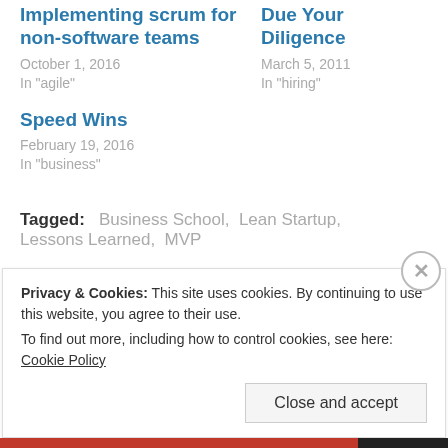Implementing scrum for non-software teams
October 1, 2016
In "agile"
Due Your Diligence
March 5, 2011
In "hiring"
Speed Wins
February 19, 2016
In "business"
Tagged:   Business School,  Lean Startup,  Lessons Learned,  MVP
Privacy & Cookies: This site uses cookies. By continuing to use this website, you agree to their use.
To find out more, including how to control cookies, see here: Cookie Policy
Close and accept